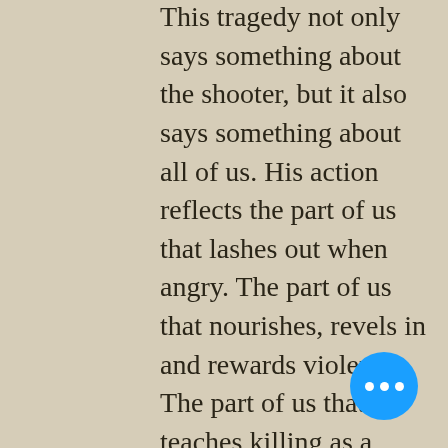This tragedy not only says something about the shooter, but it also says something about all of us. His action reflects the part of us that lashes out when angry. The part of us that nourishes, revels in and rewards violence. The part of us that teaches killing as a solution. The only solution.
Every time we take action that is not from love and compassion, we are that shooter.
He had a mental health issue, but he mirrored our society's larger one. As Marianne Williamson says, “Outsized greed is a mental health issue. An economic system that puts money